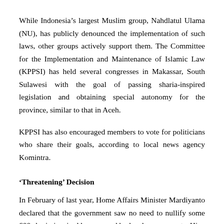While Indonesia's largest Muslim group, Nahdlatul Ulama (NU), has publicly denounced the implementation of such laws, other groups actively support them. The Committee for the Implementation and Maintenance of Islamic Law (KPPSI) has held several congresses in Makassar, South Sulawesi with the goal of passing sharia-inspired legislation and obtaining special autonomy for the province, similar to that in Aceh.
KPPSI has also encouraged members to vote for politicians who share their goals, according to local news agency Komintra.
‘Threatening’ Decision
In February of last year, Home Affairs Minister Mardiyanto declared that the government saw no need to nullify some 600 sharia-inspired laws passed by local governments. His